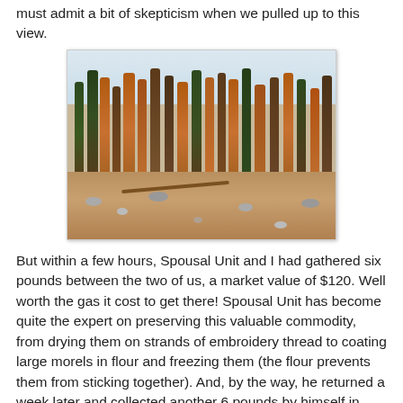must admit a bit of skepticism when we pulled up to this view.
[Figure (photo): Photograph of a forested hillside with many dead or dying trees with brown/orange foliage and bare trunks, standing on a cleared dirt and rock slope. Sky is light gray/blue in background.]
But within a few hours, Spousal Unit and I had gathered six pounds between the two of us, a market value of $120.  Well worth the gas it cost to get there!  Spousal Unit has become quite the expert on preserving this valuable commodity, from drying them on strands of embroidery thread to coating large morels in flour and freezing them (the flour prevents them from sticking together).  And, by the way, he returned a week later and collected another 6 pounds by himself in less time,